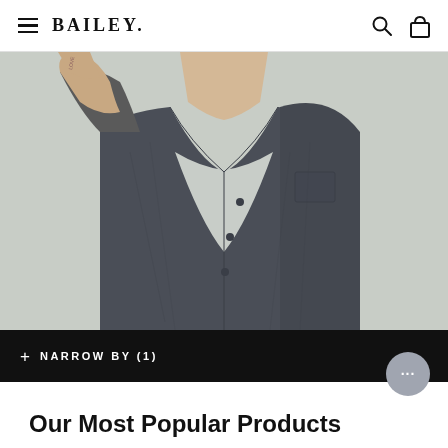BAILEY
[Figure (photo): Man wearing a dark grey denim jacket over a light grey t-shirt, hand raised near his face, photographed from neck down on a light grey background]
+ NARROW BY (1)
Our Most Popular Products